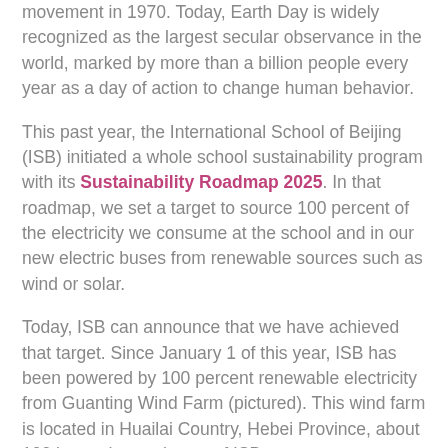movement in 1970. Today, Earth Day is widely recognized as the largest secular observance in the world, marked by more than a billion people every year as a day of action to change human behavior.
This past year, the International School of Beijing (ISB) initiated a whole school sustainability program with its Sustainability Roadmap 2025. In that roadmap, we set a target to source 100 percent of the electricity we consume at the school and in our new electric buses from renewable sources such as wind or solar.
Today, ISB can announce that we have achieved that target. Since January 1 of this year, ISB has been powered by 100 percent renewable electricity from Guanting Wind Farm (pictured). This wind farm is located in Huailai Country, Hebei Province, about 100 km to the northwest of ISB.